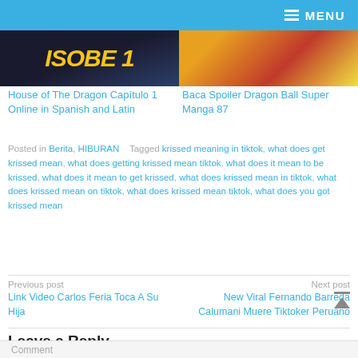MENU
[Figure (photo): Two images side by side: left shows stylized text 'ISOBE 1' in yellow on dark background, right shows colorful Dragon Ball themed image with orange and red tones]
House of The Dragon Capítulo 1 Online in Spanish and Latin
Baca Spoiler Dragon Ball Super Manga 87
Posted in Berita, HIBURAN   Tagged krissed meaning in tiktok, what does get krissed mean, what does getting krissed mean tiktok, what does it mean to be krissed, what does it mean to get krissed, what does krissed mean in tiktok, what does krissed mean on tiktok, what does krissed mean tiktok, what does you got krissed mean
Previous post
Link Video Carlos Feria Toca A Su Hija
Next post
New Viral Fernando Barreda Calumani Muere Tiktoker Peruano
Leave a Reply
Your email address will not be published. Required fields are marked
Comment